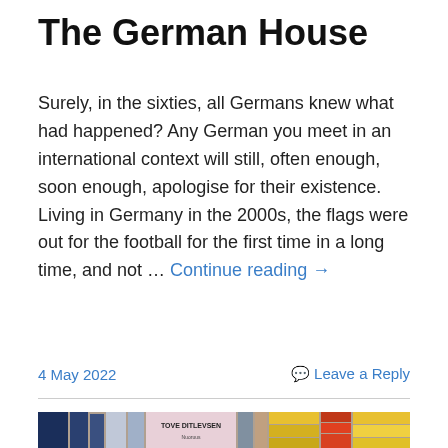The German House
Surely, in the sixties, all Germans knew what had happened? Any German you meet in an international context will still, often enough, soon enough, apologise for their existence. Living in Germany in the 2000s, the flags were out for the football for the first time in a long time, and not … Continue reading →
4 May 2022     Leave a Reply
[Figure (photo): A photograph of books in a bookshop, featuring a pink book with 'TOVE DITLEVSEN Nuoruus' on the cover, surrounded by stacked colorful books with yellow, red, and multicolored spines.]